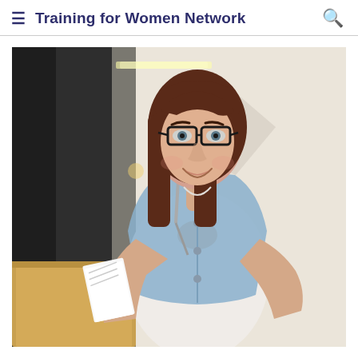Training for Women Network
[Figure (photo): A woman with dark red/brown hair and glasses stands at a wooden podium holding papers in one hand, speaking into a microphone. She is wearing a white top and a denim vest, and is smiling. The setting appears to be an indoor event or presentation.]